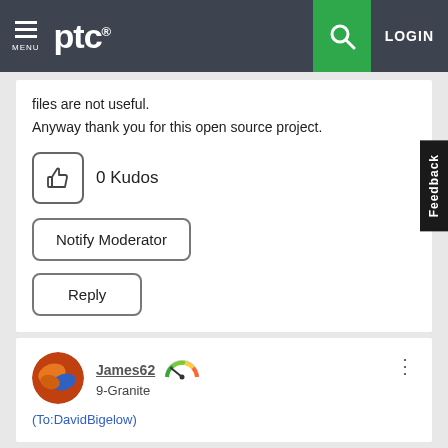[Figure (screenshot): PTC website navigation bar with hamburger menu, PTC logo, search icon (green background), and LOGIN button]
files are not useful.
Anyway thank you for this open source project.
0 Kudos
Notify Moderator
Reply
James62
9-Granite
(To:DavidBigelow)